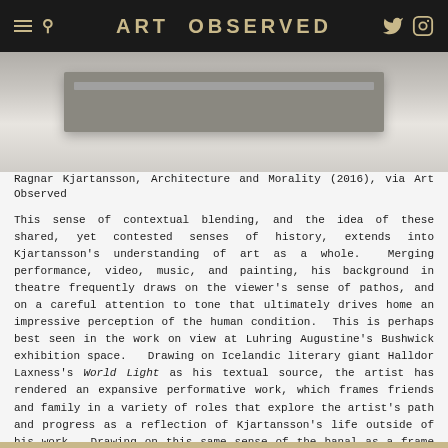ART OBSERVED
[Figure (photo): Artwork photo: Ragnar Kjartansson, Architecture and Morality (2016), a horizontal sculptural form with metallic surface on light background]
Ragnar Kjartansson, Architecture and Morality (2016), via Art Observed
This sense of contextual blending, and the idea of these shared, yet contested senses of history, extends into Kjartansson's understanding of art as a whole.  Merging performance, video, music, and painting, his background in theatre frequently draws on the viewer's sense of pathos, and on a careful attention to tone that ultimately drives home an impressive perception of the human condition.  This is perhaps best seen in the work on view at Luhring Augustine's Bushwick exhibition space.   Drawing on Icelandic literary giant Halldor Laxness's World Light as his textual source, the artist has rendered an expansive performative work, which frames friends and family in a variety of roles that explore the artist's path and progress as a reflection of Kjartansson's life outside of his work.  Drawing on this same sense of the banal as a frame through which one can access Kjartansson as both writer and text, the video is a strikingly in-depth summation of similar threads on view in Manhattan.